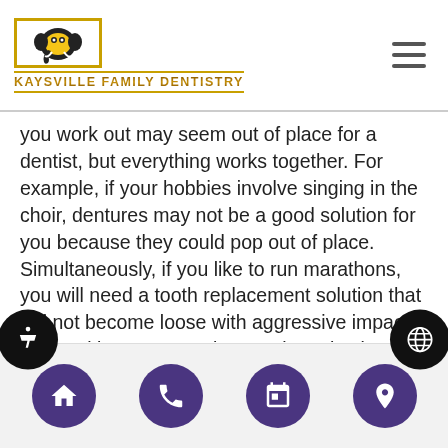Kaysville Family Dentistry
you work out may seem out of place for a dentist, but everything works together. For example, if your hobbies involve singing in the choir, dentures may not be a good solution for you because they could pop out of place. Simultaneously, if you like to run marathons, you will need a tooth replacement solution that will not become loose with aggressive impact. After asking you questions and conducting a physical examination, we will make a recommendation as to which option we feel will work best for your lifestyle. If you are a good candidate for all of them, we will let you know that as well, so you can ask more specific questions regarding the procedures and cost involved.
Home | Phone | Calendar | Location